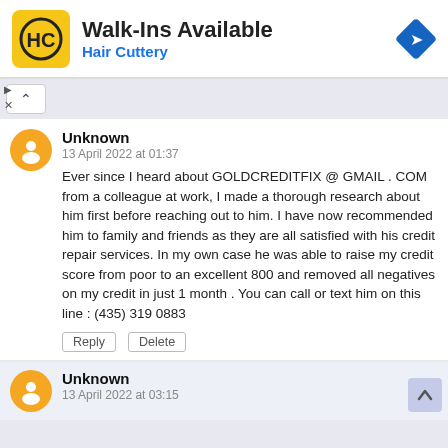[Figure (logo): Hair Cuttery advertisement banner with logo, Walk-Ins Available text, and a navigation arrow icon]
Unknown
13 April 2022 at 01:37
Ever since I heard about GOLDCREDITFIX @ GMAIL . COM from a colleague at work, I made a thorough research about him first before reaching out to him. I have now recommended him to family and friends as they are all satisfied with his credit repair services. In my own case he was able to raise my credit score from poor to an excellent 800 and removed all negatives on my credit in just 1 month . You can call or text him on this line : (435) 319 0883
Unknown
13 April 2022 at 03:15